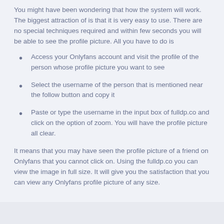You might have been wondering that how the system will work. The biggest attraction of is that it is very easy to use. There are no special techniques required and within few seconds you will be able to see the profile picture. All you have to do is
Access your Onlyfans account and visit the profile of the person whose profile picture you want to see
Select the username of the person that is mentioned near the follow button and copy it
Paste or type the username in the input box of fulldp.co and click on the option of zoom. You will have the profile picture all clear.
It means that you may have seen the profile picture of a friend on Onlyfans that you cannot click on. Using the fulldp.co you can view the image in full size. It will give you the satisfaction that you can view any Onlyfans profile picture of any size.